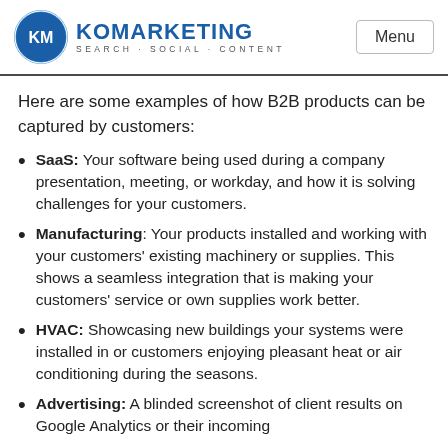KO MARKETING SEARCH·SOCIAL·CONTENT | Menu
Here are some examples of how B2B products can be captured by customers:
SaaS: Your software being used during a company presentation, meeting, or workday, and how it is solving challenges for your customers.
Manufacturing: Your products installed and working with your customers' existing machinery or supplies. This shows a seamless integration that is making your customers' service or own supplies work better.
HVAC: Showcasing new buildings your systems were installed in or customers enjoying pleasant heat or air conditioning during the seasons.
Advertising: A blinded screenshot of client results on Google Analytics or their incoming…